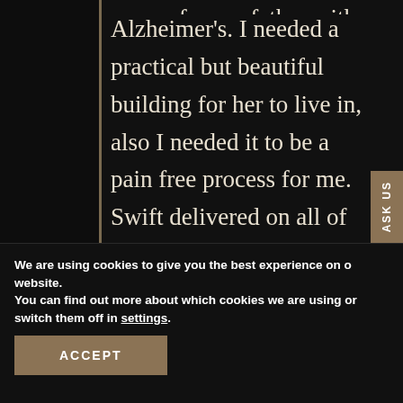Alzheimer's. I needed a practical but beautiful building for her to live in, also I needed it to be a pain free process for me. Swift delivered on all of this. I had an ensuite with open plan living and bedroom space annexe, they provided everything from plans.
We are using cookies to give you the best experience on our website.
You can find out more about which cookies we are using or switch them off in settings.
ACCEPT
ASK US